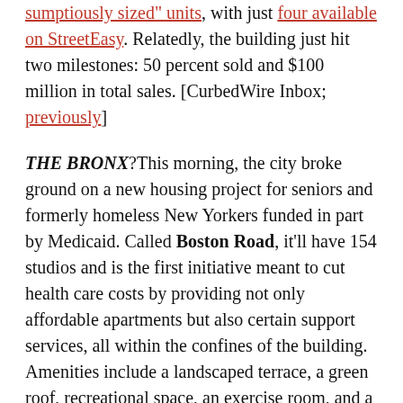"sumptiously sized" units, with just four available on StreetEasy. Relatedly, the building just hit two milestones: 50 percent sold and $100 million in total sales. [CurbedWire Inbox; previously]
THE BRONX?This morning, the city broke ground on a new housing project for seniors and formerly homeless New Yorkers funded in part by Medicaid. Called Boston Road, it'll have 154 studios and is the first initiative meant to cut health care costs by providing not only affordable apartments but also certain support services, all within the confines of the building. Amenities include a landscaped terrace, a green roof, recreational space, an exercise room, and a computer lab. This is the first building of its type, but the bigger plan it's kicking off funnels $46.7 million towards 12 new buildings over the